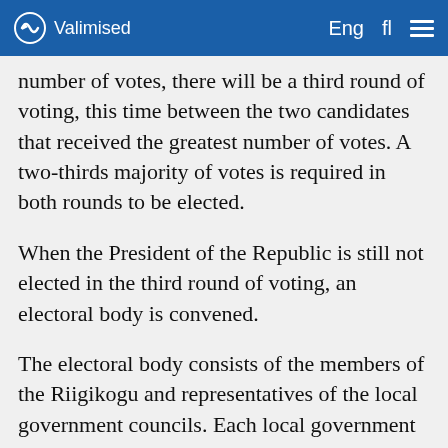Valimised   Eng  fl
number of votes, there will be a third round of voting, this time between the two candidates that received the greatest number of votes. A two-thirds majority of votes is required in both rounds to be elected.
When the President of the Republic is still not elected in the third round of voting, an electoral body is convened.
The electoral body consists of the members of the Riigikogu and representatives of the local government councils. Each local government council shall elect at least one representative to the electoral body. In 2021, the electoral body consists of 208